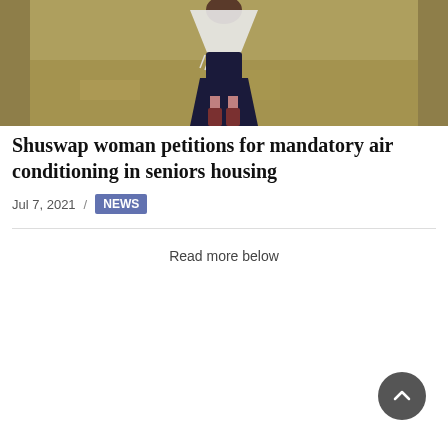[Figure (photo): A woman standing outdoors on dry grass, wearing a dark floral dress, a white fringed shawl, and dark red/maroon knee-high boots.]
Shuswap woman petitions for mandatory air conditioning in seniors housing
Jul 7, 2021 / NEWS
Read more below